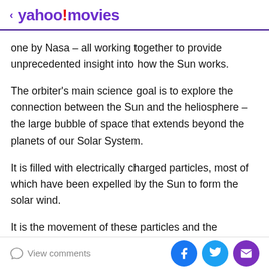< yahoo!movies
one by Nasa – all working together to provide unprecedented insight into how the Sun works.
The orbiter's main science goal is to explore the connection between the Sun and the heliosphere – the large bubble of space that extends beyond the planets of our Solar System.
It is filled with electrically charged particles, most of which have been expelled by the Sun to form the solar wind.
It is the movement of these particles and the associated solar magnetic fields that create space weather.
View comments